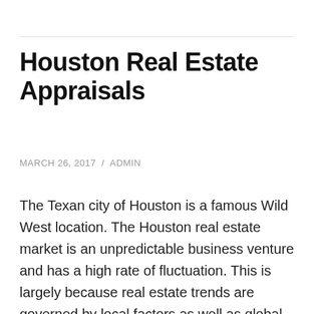Houston Real Estate Appraisals
MARCH 26, 2017 / ADMIN
The Texan city of Houston is a famous Wild West location. The Houston real estate market is an unpredictable business venture and has a high rate of fluctuation. This is largely because real estate trends are governed by local factors as well as global recession. Houston real estate revolves around residential and commercial property. Residential properties have revenue generation potential and are therefore